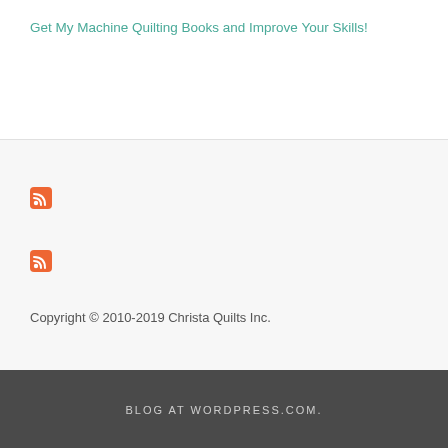Get My Machine Quilting Books and Improve Your Skills!
[Figure (logo): RSS feed icon 1 - orange rounded square with RSS symbol]
[Figure (logo): RSS feed icon 2 - orange rounded square with RSS symbol]
Copyright © 2010-2019 Christa Quilts Inc.
BLOG AT WORDPRESS.COM.